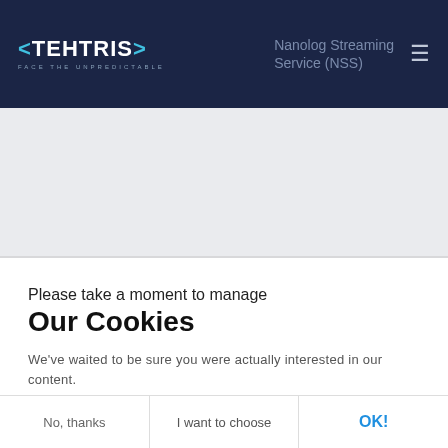[Figure (logo): TEHTRIS logo with tagline FACE THE UNPREDICTABLE on dark navy header]
Nanolog Streaming Service (NSS)
Please take a moment to manage
Our Cookies
We've waited to be sure you were actually interested in our content.
Consents certified by axeptio
No, thanks | I want to choose | OK!